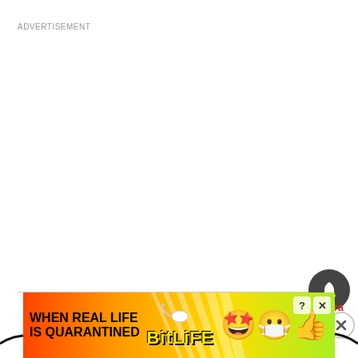ADVERTISEMENT
[Figure (other): Bell notification button icon (dark circular button with bell symbol), horizontal divider line, and Powered by Viafoura branding with close (X) button]
[Figure (illustration): Wavy decorative black line]
[Figure (infographic): BitLife game advertisement banner: colorful rainbow background with rays, text 'WHEN REAL LIFE IS QUARANTINED' on left, sperm icon in center, BitLife logo in yellow, star-eyes emoji and masked thumbs-up emoji on right, question mark and X buttons in top right corner]